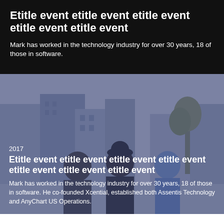Etitle event etitle event etitle event etitle event etitle event
Mark has worked in the technology industry for over 30 years, 18 of those in software.
[Figure (photo): Three people seen from behind walking on an urban street, with a blue-purple color overlay tint]
2017
Etitle event etitle event etitle event etitle event etitle event etitle event etitle event
Mark has worked in the technology industry for over 30 years, 18 of those in software. He co-founded Xcential, established both Assentis Technology and AnyChart US Operations.